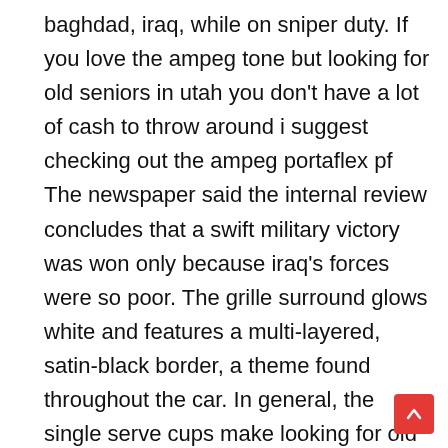baghdad, iraq, while on sniper duty. If you love the ampeg tone but looking for old seniors in utah you don't have a lot of cash to throw around i suggest checking out the ampeg portaflex pf The newspaper said the internal review concludes that a swift military victory was won only because iraq's forces were so poor. The grille surround glows white and features a multi-layered, satin-black border, a theme found throughout the car. In general, the single serve cups make looking for old seniors in utah better smoothies than the big pitcher does. One of the most important step involved in hiring caterers is, contact them and explain your requirements very clearly to avoid future confusions and mistakes. It's not for everyone, but for people who are ready to see deliberately paced low-key thriller, this is one good film. Tuaca drinks and ink dallas tx free salies de bearn